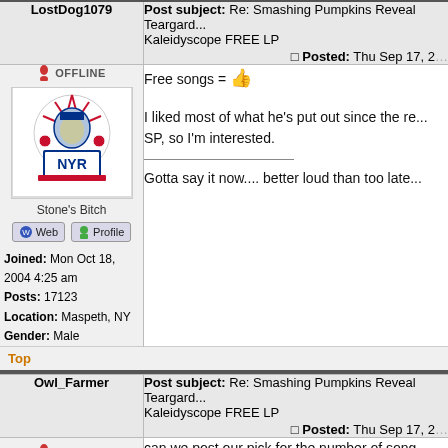| LostDog1079 | Post subject: Re: Smashing Pumpkins Reveal Teargarden Kaleidyscope FREE LP
Posted: Thu Sep 17, 2... |
| --- | --- |
| [OFFLINE icon] Stone's Bitch
[Web] [Profile]
Joined: Mon Oct 18, 2004 4:25 am
Posts: 17123
Location: Maspeth, NY
Gender: Male | Free songs = 👌

I liked most of what he's put out since the re... SP, so I'm interested.

_______________
Gotta say it now.... better loud than too late... |
Top
| Owl_Farmer | Post subject: Re: Smashing Pumpkins Reveal Teargarden Kaleidyscope FREE LP
Posted: Thu Sep 17, 2... |
| --- | --- |
| [OFFLINE icon] | can we post our pick for the number of song... complete before quitting? |